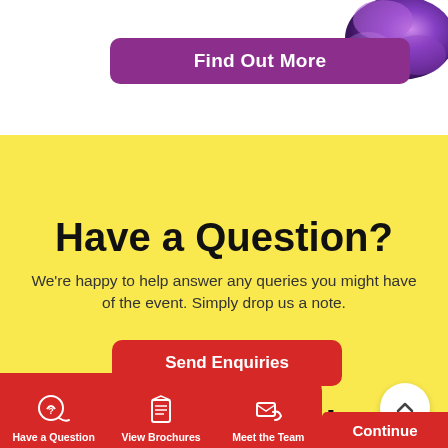[Figure (illustration): Purple watercolor splash in top right corner]
[Figure (other): Find Out More button — purple rounded rectangle with white bold text]
Have a Question?
We're happy to help answer any queries you might have of the event. Simply drop us a note.
[Figure (other): Send Enquiries button — red rounded rectangle with white bold text]
Join Mailing List
[Figure (other): Navigation bar with three items: Have a Question (speech bubble with question mark icon), View Brochures (book/box icon), Meet the Team (envelope with phone icon). Red background with white icons and white text labels.]
[Figure (other): Scroll up circular button with chevron/caret icon, white background]
[Figure (other): Continue button — red with white text, partially visible at bottom right]